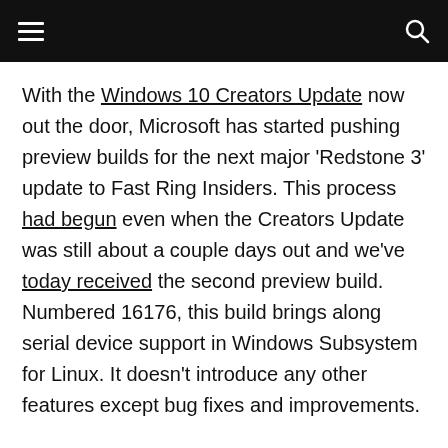[hamburger menu] [search icon]
With the Windows 10 Creators Update now out the door, Microsoft has started pushing preview builds for the next major ‘Redstone 3’ update to Fast Ring Insiders. This process had begun even when the Creators Update was still about a couple days out and we’ve today received the second preview build. Numbered 16176, this build brings along serial device support in Windows Subsystem for Linux. It doesn’t introduce any other features except bug fixes and improvements.
As we’ve already described earlier, you won’t see